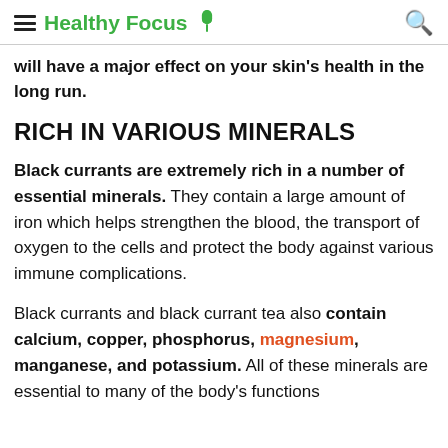Healthy Focus
will have a major effect on your skin's health in the long run.
RICH IN VARIOUS MINERALS
Black currants are extremely rich in a number of essential minerals. They contain a large amount of iron which helps strengthen the blood, the transport of oxygen to the cells and protect the body against various immune complications.
Black currants and black currant tea also contain calcium, copper, phosphorus, magnesium, manganese, and potassium. All of these minerals are essential to many of the body's functions